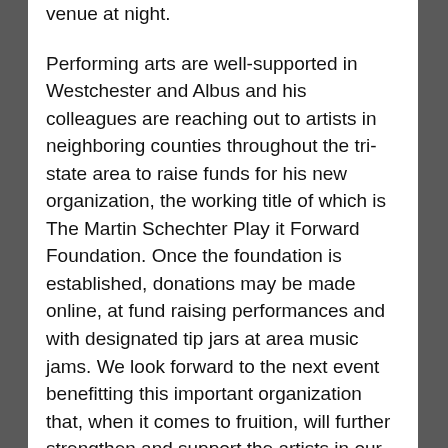venue at night.
Performing arts are well-supported in Westchester and Albus and his colleagues are reaching out to artists in neighboring counties throughout the tri-state area to raise funds for his new organization, the working title of which is The Martin Schechter Play it Forward Foundation. Once the foundation is established, donations may be made online, at fund raising performances and with designated tip jars at area music jams. We look forward to the next event benefitting this important organization that, when it comes to fruition, will further strengthen and support the artists in our community.
Miriam Longobardi is a freelance writer, first grade teacher and single mother of two daughters living in Westchester. A breast cancer survivor, she also